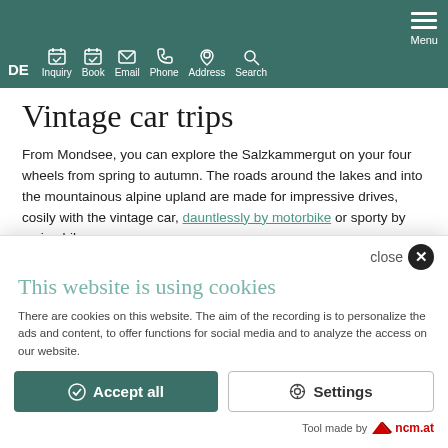DE  Inquiry  Book  Email  Phone  Address  Search  Menu
Vintage car trips
From Mondsee, you can explore the Salzkammergut on your four wheels from spring to autumn. The roads around the lakes and into the mountainous alpine upland are made for impressive drives, cosily with the vintage car, dauntlessly by motorbike or sporty by racing bike.
After you have parked your vehicle safely with us in the Hotel
close
This website is using cookies
There are cookies on this website. The aim of the recording is to personalize the ads and content, to offer functions for social media and to analyze the access on our website.
Accept all  Settings
Tool made by ncm.at